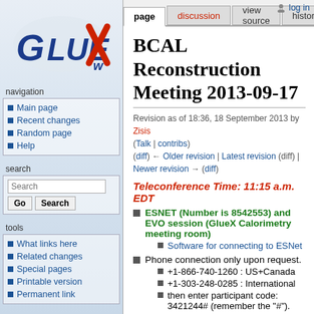[Figure (logo): GlueX logo with stylized X in red/blue]
navigation
Main page
Recent changes
Random page
Help
search
tools
What links here
Related changes
Special pages
Printable version
Permanent link
log in
BCAL Reconstruction Meeting 2013-09-17
Revision as of 18:36, 18 September 2013 by Zisis (Talk | contribs)
(diff) ← Older revision | Latest revision (diff) | Newer revision → (diff)
Teleconference Time: 11:15 a.m. EDT
ESNET (Number is 8542553) and EVO session (GlueX Calorimetry meeting room)
Software for connecting to ESNet
Phone connection only upon request.
+1-866-740-1260 : US+Canada
+1-303-248-0285 : International
then enter participant code: 3421244# (remember the "#").
or www.readytalk.com (and code without the #)
Contents
1 Participant Direct Lines